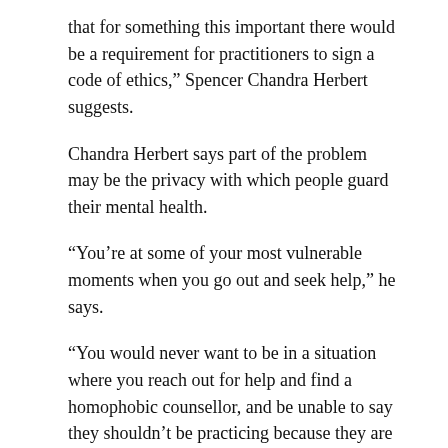that for something this important there would be a requirement for practitioners to sign a code of ethics," Spencer Chandra Herbert suggests.
Chandra Herbert says part of the problem may be the privacy with which people guard their mental health.
“You’re at some of your most vulnerable moments when you go out and seek help,” he says.
“You would never want to be in a situation where you reach out for help and find a homophobic counsellor, and be unable to say they shouldn’t be practicing because they are giving hateful advice,” he says.
“Right now, you can still do that and call yourself a counsellor,” he says.
Only Ontario, Quebec and Nova Scotia have full